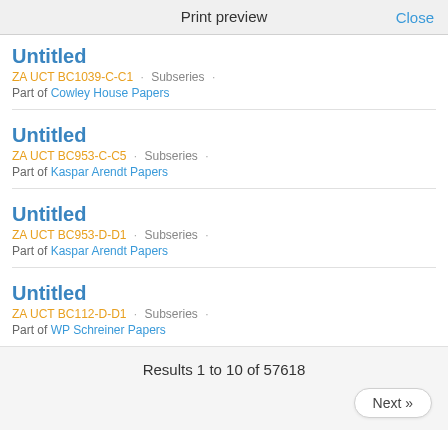Print preview   Close
Untitled
ZA UCT BC1039-C-C1 · Subseries ·
Part of Cowley House Papers
Untitled
ZA UCT BC953-C-C5 · Subseries ·
Part of Kaspar Arendt Papers
Untitled
ZA UCT BC953-D-D1 · Subseries ·
Part of Kaspar Arendt Papers
Untitled
ZA UCT BC112-D-D1 · Subseries ·
Part of WP Schreiner Papers
Results 1 to 10 of 57618
Next »